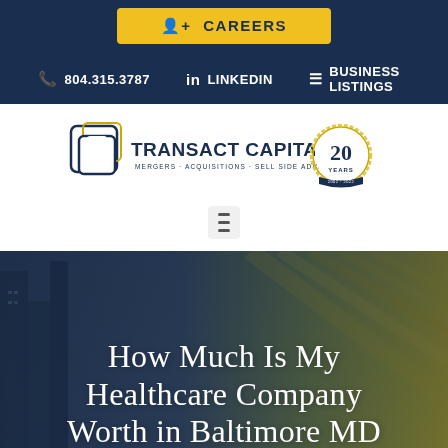CAREERS
804.315.3787  LINKEDIN  BUSINESS LISTINGS
[Figure (logo): Transact Capital logo with overlapping square shapes, text 'TRANSACT CAPITAL MERGERS · ACQUISITIONS · SELL SIDE ADVISORS' and a 20 YEARS anniversary badge]
[Figure (other): Hamburger menu icon (three horizontal bars) in a gray box]
How Much Is My Healthcare Company Worth in Baltimore MD